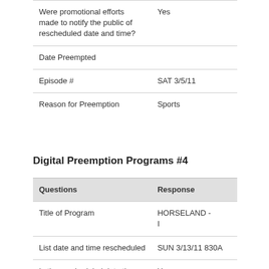| Questions | Response |
| --- | --- |
| Were promotional efforts made to notify the public of rescheduled date and time? | Yes |
| Date Preempted |  |
| Episode # | SAT 3/5/11 |
| Reason for Preemption | Sports |
Digital Preemption Programs #4
| Questions | Response |
| --- | --- |
| Title of Program | HORSELAND - I |
| List date and time rescheduled | SUN 3/13/11 830A |
| Is the rescheduled date the second home? | Yes |